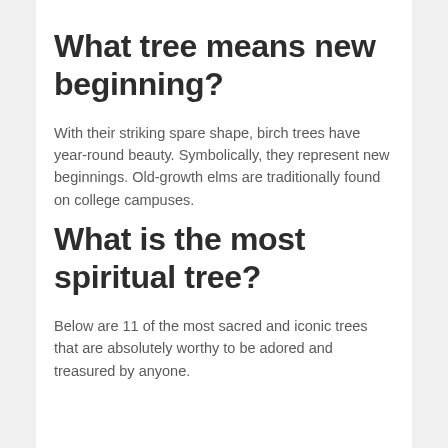What tree means new beginning?
With their striking spare shape, birch trees have year-round beauty. Symbolically, they represent new beginnings. Old-growth elms are traditionally found on college campuses.
What is the most spiritual tree?
Below are 11 of the most sacred and iconic trees that are absolutely worthy to be adored and treasured by anyone.